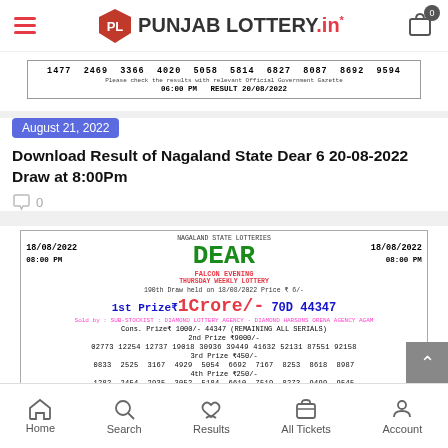Punjab Lottery.in
[Figure (screenshot): Lottery result strip showing numbers: 1477 2469 3366 4020 5058 5814 6827 8087 8692 9594 with time 08:00 PM RESULT 20/08/2022]
August 21, 2022
Download Result of Nagaland State Dear 6 20-08-2022 Draw at 8:00Pm
0
[Figure (screenshot): Nagaland State Lotteries ticket for Dear Falcon Evening Thursday Weekly Lottery dated 18/08/2022 08:00 PM. 1st Prize ₹1Crore/- 70D 44347. Cons. Prize ₹1000/- 44347 (Remaining All Serials). 2nd Prize ₹9000/- numbers: 02773 12254 12737 19018 30936 39449 41632 52131 87551 92158. 3rd Prize ₹450/- numbers: 0833 2525 3167 4929 5054 6692 7167 8253 8618 8987. 4th Prize ₹250/- numbers: 1282 2454 2935 3052 5184 6610 7519 8273 9499 9545]
Home  Search  Results  All Tickets  Account